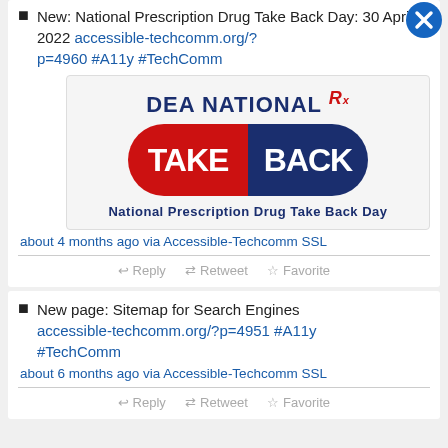New: National Prescription Drug Take Back Day: 30 April 2022 accessible-techcomm.org/?p=4960 #A11y #TechComm
[Figure (logo): DEA National Rx Take Back Day logo with pill-shaped graphic in red and blue, text 'National Prescription Drug Take Back Day']
about 4 months ago via Accessible-Techcomm SSL
Reply  Retweet  Favorite
New page: Sitemap for Search Engines accessible-techcomm.org/?p=4951 #A11y #TechComm
about 6 months ago via Accessible-Techcomm SSL
Reply  Retweet  Favorite